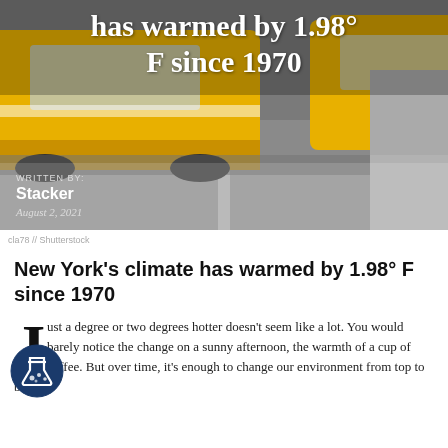[Figure (photo): Hero image of yellow New York City taxis on a city street, grayscale background with yellow cabs in foreground. Overlaid white bold text reads: 'has warmed by 1.98° F since 1970'. Below the image are author attribution fields.]
WRITTEN BY:
Stacker
August 2, 2021
cla78 // Shutterstock
New York's climate has warmed by 1.98° F since 1970
Just a degree or two degrees hotter doesn't seem like a lot. You would barely notice the change on a sunny afternoon, the warmth of a cup of coffee. But over time, it's enough to change our environment from top to bottom